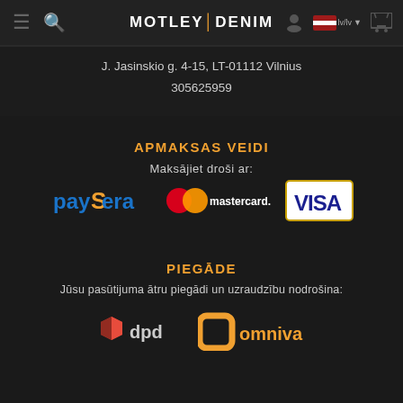MOTLEY|DENIM navigation bar with hamburger menu, search, language selector (lv/lv), and cart icons
J. Jasinskio g. 4-15, LT-01112 Vilnius
305625959
APMAKSAS VEIDI
Maksājiet droši ar:
[Figure (logo): PaySera, Mastercard, and Visa payment logos]
PIEGĀDE
Jūsu pasūtijuma ātru piegādi un uzraudzību nodrošina:
[Figure (logo): DPD and Omniva delivery logos]